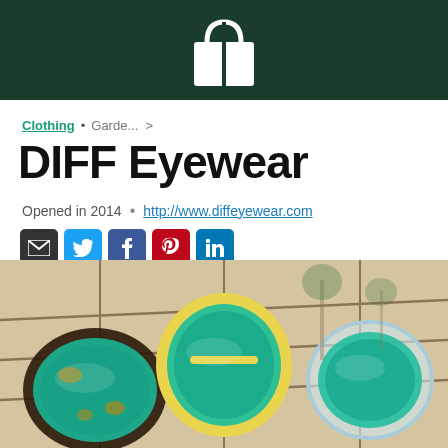[Figure (logo): White shopping bag icon on dark green header bar]
Clothing • Garde... >
DIFF Eyewear
Opened in 2014 • http://www.diffeyewear.com
[Figure (illustration): Social media icons: email, Twitter, Facebook, Pinterest, LinkedIn]
[Figure (photo): Three pairs of colorful sunglasses with teal/green mirrored lenses hanging on ropes outdoors with palm trees in background]